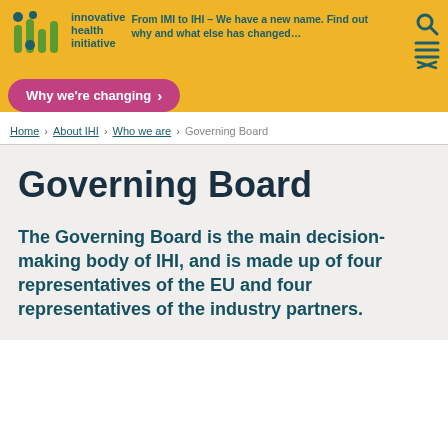From IMI to IHI – We have a new name. Find out why and what else has changed… | innovative health initiative
Why we're changing >
Home > About IHI > Who we are > Governing Board
Governing Board
The Governing Board is the main decision-making body of IHI, and is made up of four representatives of the EU and four representatives of the industry partners.